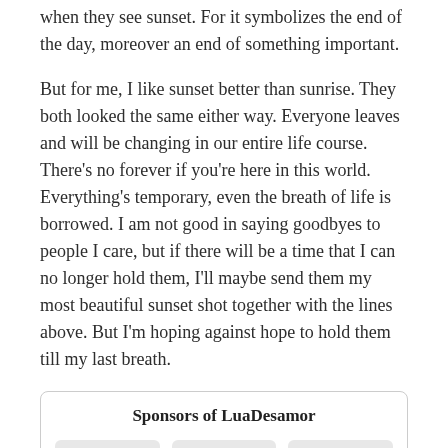when they see sunset. For it symbolizes the end of the day, moreover an end of something important.
But for me, I like sunset better than sunrise. They both looked the same either way. Everyone leaves and will be changing in our entire life course. There's no forever if you're here in this world. Everything's temporary, even the breath of life is borrowed. I am not good in saying goodbyes to people I care, but if there will be a time that I can no longer hold them, I'll maybe send them my most beautiful sunset shot together with the lines above. But I'm hoping against hope to hold them till my last breath.
| Sponsors of LuaDesamor |
| --- |
| empty | empty | empty |